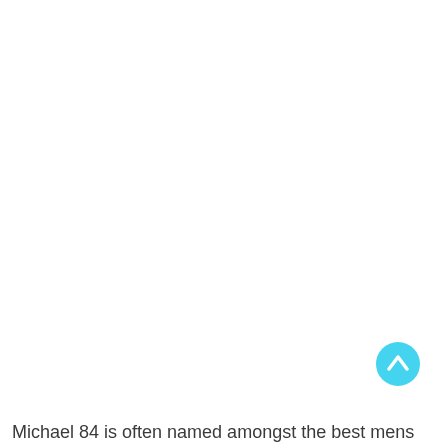[Figure (illustration): A cyan/light-blue circular button with an upward-pointing chevron/caret arrow icon, positioned in the lower-right area of the page. This is a scroll-to-top UI button.]
Michael 84 is often named amongst the best mens